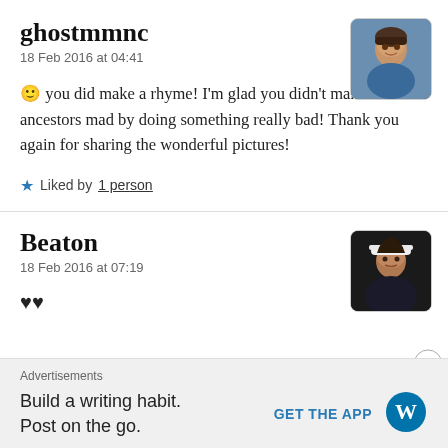ghostmmnc
18 Feb 2016 at 04:41
🙂 you did make a rhyme! I'm glad you didn't make the ancestors mad by doing something really bad! Thank you again for sharing the wonderful pictures!
★ Liked by 1 person
[Figure (photo): Avatar photo of ghostmmnc - woman in blue top]
Beaton
18 Feb 2016 at 07:19
♥♥
[Figure (photo): Avatar photo of Beaton - person with hat]
Advertisements
Build a writing habit. Post on the go.
GET THE APP